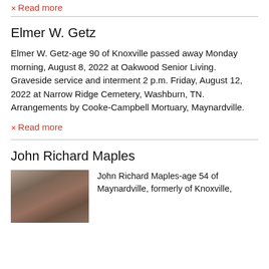Read more
Elmer W. Getz
Elmer W. Getz-age 90 of Knoxville passed away Monday morning, August 8, 2022 at Oakwood Senior Living. Graveside service and interment 2 p.m. Friday, August 12, 2022 at Narrow Ridge Cemetery, Washburn, TN. Arrangements by Cooke-Campbell Mortuary, Maynardville.
Read more
John Richard Maples
[Figure (photo): Portrait photo of John Richard Maples]
John Richard Maples-age 54 of Maynardville, formerly of Knoxville, passed away...